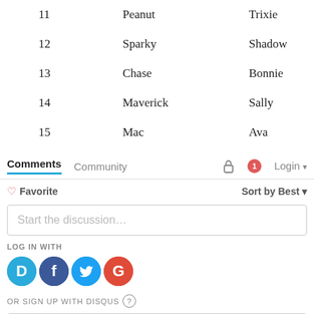| 11 | Peanut | Trixie |
| 12 | Sparky | Shadow |
| 13 | Chase | Bonnie |
| 14 | Maverick | Sally |
| 15 | Mac | Ava |
Comments   Community   Login
♡ Favorite   Sort by Best
Start the discussion...
LOG IN WITH
[Figure (infographic): Social login icons: Disqus (D), Facebook (f), Twitter bird, Google (G)]
OR SIGN UP WITH DISQUS ?
Name